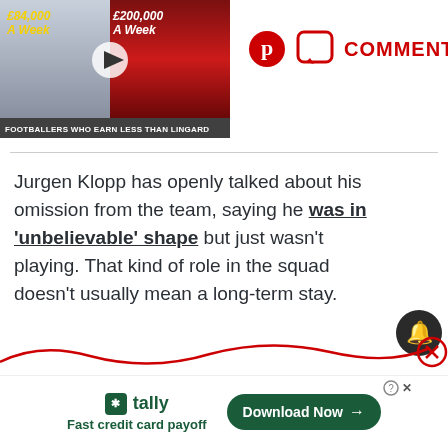[Figure (screenshot): Video thumbnail showing two footballers with salary labels: £84,000 A Week and £200,000 A Week, with caption 'Footballers Who Earn Less Than Lingard']
[Figure (logo): Pinterest icon (red circle with P) and speech bubble comment icon with COMMENTS text in red]
Jurgen Klopp has openly talked about his omission from the team, saying he was in 'unbelievable' shape but just wasn't playing. That kind of role in the squad doesn't usually mean a long-term stay.
[Figure (other): Tally app advertisement: Fast credit card payoff, Download Now button]
[Figure (other): Bell notification button (dark circle with bell icon) and red wavy line with X close button]